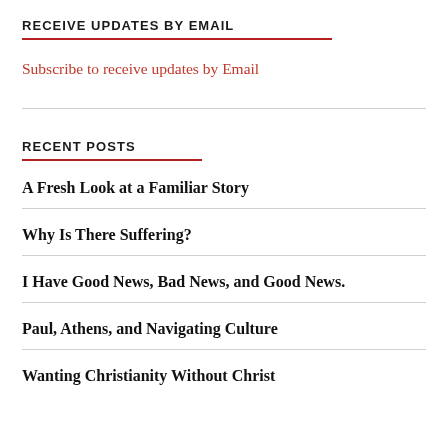RECEIVE UPDATES BY EMAIL
Subscribe to receive updates by Email
RECENT POSTS
A Fresh Look at a Familiar Story
Why Is There Suffering?
I Have Good News, Bad News, and Good News.
Paul, Athens, and Navigating Culture
Wanting Christianity Without Christ